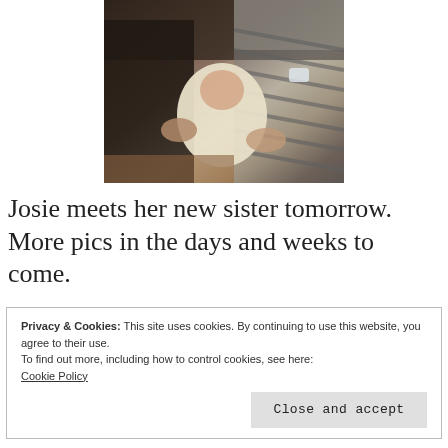[Figure (photo): Two people holding a newborn baby indoors. One person wearing a dark striped top and the other in a striped grey top. The baby is wrapped in a white patterned blanket.]
Josie meets her new sister tomorrow.  More pics in the days and weeks to come.
Privacy & Cookies: This site uses cookies. By continuing to use this website, you agree to their use.
To find out more, including how to control cookies, see here:
Cookie Policy

Close and accept